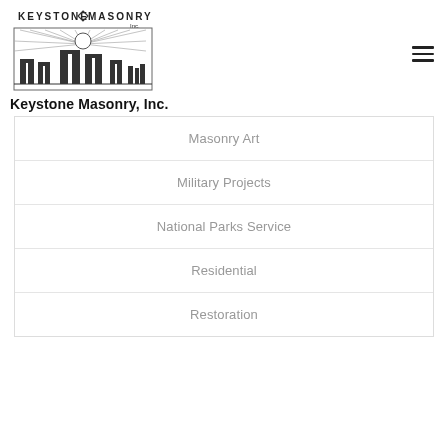[Figure (logo): Keystone Masonry Inc. logo with stonehenge-like silhouette and sunburst, text reading KEYSTONE MASONRY Inc.]
Keystone Masonry, Inc.
Masonry Art
Military Projects
National Parks Service
Residential
Restoration